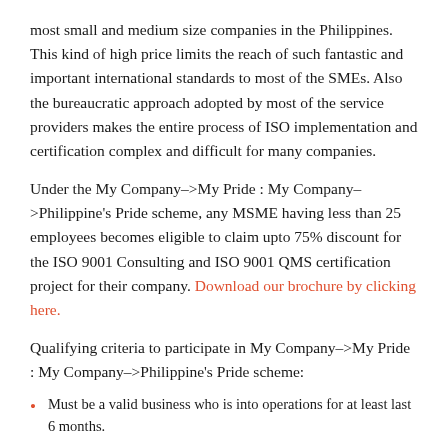most small and medium size companies in the Philippines. This kind of high price limits the reach of such fantastic and important international standards to most of the SMEs. Also the bureaucratic approach adopted by most of the service providers makes the entire process of ISO implementation and certification complex and difficult for many companies.
Under the My Company–>My Pride : My Company–>Philippine's Pride scheme, any MSME having less than 25 employees becomes eligible to claim upto 75% discount for the ISO 9001 Consulting and ISO 9001 QMS certification project for their company. Download our brochure by clicking here.
Qualifying criteria to participate in My Company–>My Pride : My Company–>Philippine's Pride scheme:
Must be a valid business who is into operations for at least last 6 months.
Must have less than 25 employees.